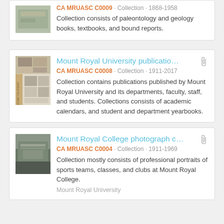[Figure (photo): Thumbnail image for geology/paleontology collection, muted brown-green tones]
CA MRUASC C0009 · Collection · 1868-1958
Collection consists of paleontology and geology books, textbooks, and bound reports.
[Figure (photo): Thumbnail image showing Mount Royal University academic calendar 2010-2011 cover]
Mount Royal University publicatio…
CA MRUASC C0008 · Collection · 1911-2017
Collection contains publications published by Mount Royal University and its departments, faculty, staff, and students. Collections consists of academic calendars, and student and department yearbooks.
[Figure (photo): Thumbnail black and white photograph of a building exterior, Mount Royal College]
Mount Royal College photograph c…
CA MRUASC C0004 · Collection · 1911-1969
Collection mostly consists of professional portraits of sports teams, classes, and clubs at Mount Royal College.
Mount Royal University